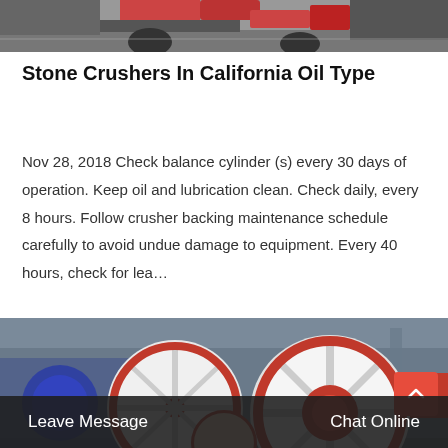[Figure (photo): Top portion of industrial stone crusher machine, partially cropped at top of page]
Stone Crushers In California Oil Type
Nov 28, 2018 Check balance cylinder (s) every 30 days of operation. Keep oil and lubrication clean. Check daily, every 8 hours. Follow crusher backing maintenance schedule carefully to avoid undue damage to equipment. Every 40 hours, check for lea…
[Figure (photo): Industrial jaw crusher machine with large red and white flywheel, photographed inside a factory, with Chinese signage visible in background]
Leave Message   Chat Online